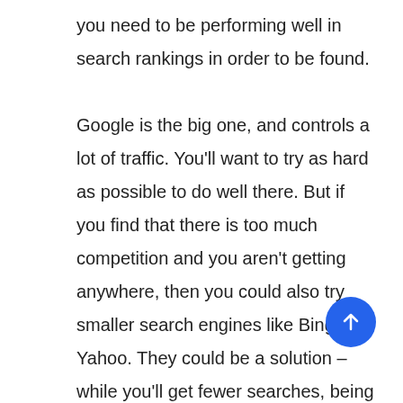you need to be performing well in search rankings in order to be found.

Google is the big one, and controls a lot of traffic. You'll want to try as hard as possible to do well there. But if you find that there is too much competition and you aren't getting anywhere, then you could also try smaller search engines like Bing or Yahoo. They could be a solution – while you'll get fewer searches, being at the top of the rankings there will make a lot more than being on page 26 of a Google search.